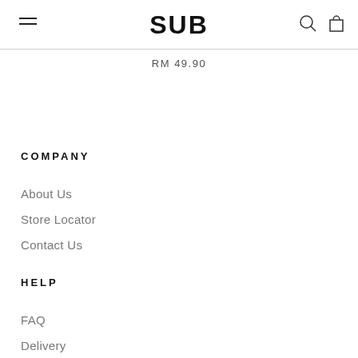SUB
RM 49.90
COMPANY
About Us
Store Locator
Contact Us
HELP
FAQ
Delivery